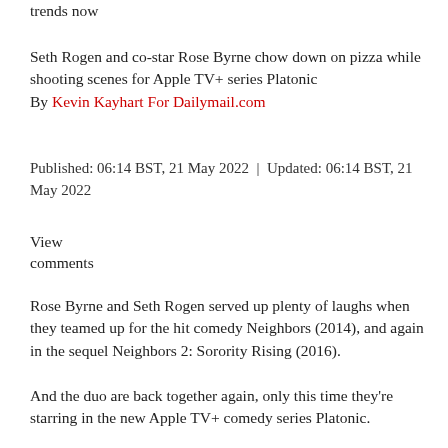trends now
Seth Rogen and co-star Rose Byrne chow down on pizza while shooting scenes for Apple TV+ series Platonic
By Kevin Kayhart For Dailymail.com
Published: 06:14 BST, 21 May 2022 | Updated: 06:14 BST, 21 May 2022
View
comments
Rose Byrne and Seth Rogen served up plenty of laughs when they teamed up for the hit comedy Neighbors (2014), and again in the sequel Neighbors 2: Sorority Rising (2016).
And the duo are back together again, only this time they're starring in the new Apple TV+ comedy series Platonic.